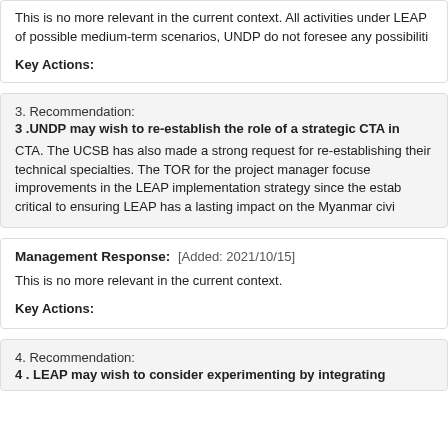This is no more relevant in the current context. All activities under LEAP of possible medium-term scenarios, UNDP do not foresee any possibiliti
Key Actions:
3. Recommendation:
3 .UNDP may wish to re-establish the role of a strategic CTA in
CTA. The UCSB has also made a strong request for re-establishing their technical specialties. The TOR for the project manager focuse improvements in the LEAP implementation strategy since the estab critical to ensuring LEAP has a lasting impact on the Myanmar civi
Management Response: [Added: 2021/10/15]
This is no more relevant in the current context.
Key Actions:
4. Recommendation:
4 . LEAP may wish to consider experimenting by integrating